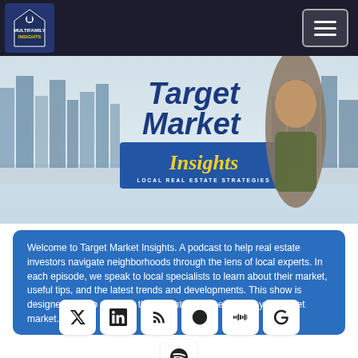[Figure (logo): Multifamily Insights podcast logo in top left corner of navigation bar]
[Figure (illustration): Banner image showing city skyline with 'Target Market Insights – Local Real Estate Strategies' branding and a man in a green shirt]
Welcome to Target Market Insights. A podcast to help real estate investors navigate neighborhoods through the lens of local experts. In each episode, we speak to local specialists to learn about their market, useful tips, and the latest trends and developments. This show is designed to help you with the insights you need to win your target market.
[Figure (infographic): Social media icon buttons: Twitter, LinkedIn, RSS, Podcast, Stitcher, Google, and Spotify]